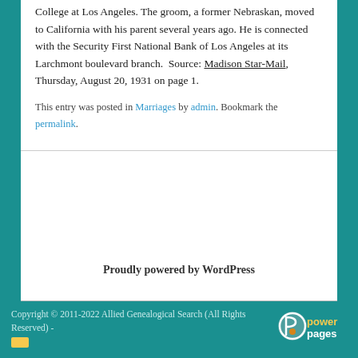College at Los Angeles. The groom, a former Nebraskan, moved to California with his parent several years ago. He is connected with the Security First National Bank of Los Angeles at its Larchmont boulevard branch.  Source: Madison Star-Mail, Thursday, August 20, 1931 on page 1.
This entry was posted in Marriages by admin. Bookmark the permalink.
Proudly powered by WordPress
Copyright © 2011-2022 Allied Genealogical Search (All Rights Reserved) - [link] [PowerPages logo]